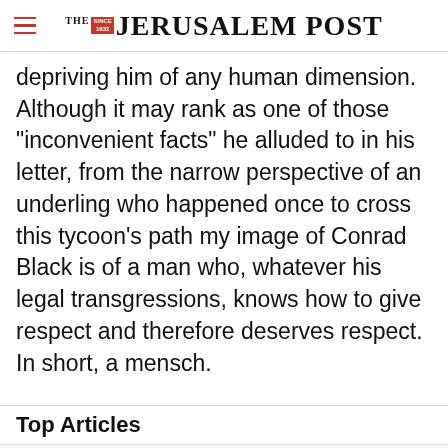THE JERUSALEM POST
depriving him of any human dimension. Although it may rank as one of those "inconvenient facts" he alluded to in his letter, from the narrow perspective of an underling who happened once to cross this tycoon's path my image of Conrad Black is of a man who, whatever his legal transgressions, knows how to give respect and therefore deserves respect. In short, a mensch.
Top Articles
Advertisement